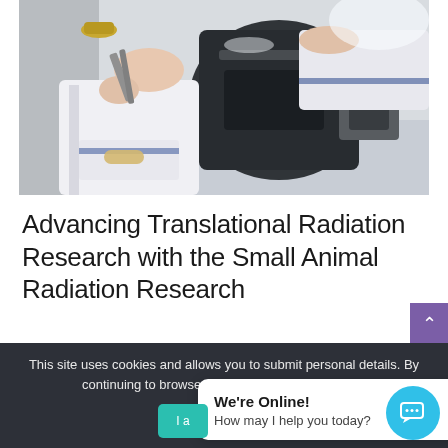[Figure (photo): A researcher in a white lab coat and bracelet working with a scientific instrument, likely a radiation research device, viewed from above at close range.]
Advancing Translational Radiation Research with the Small Animal Radiation Research
This site uses cookies and allows you to submit personal details. By continuing to browse the site, you are agreeing to
We're Online!
How may I help you today?